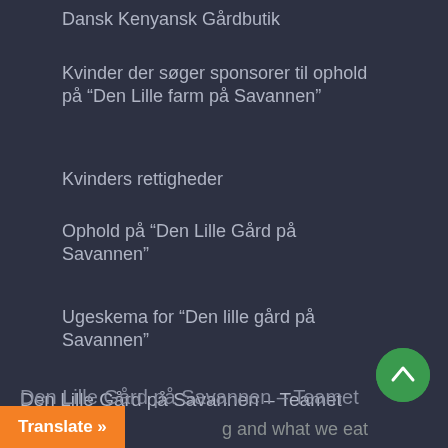Dansk Kenyansk Gårdbutik
Kvinder der søger sponsorer til ophold på “Den Lille farm på Savannen”
Kvinders rettigheder
Ophold på “Den Lille Gård på Savannen”
Ugeskema for “Den lille gård på Savannen”
Den Lille Gård på Savannen – Teamet
Dragør Kommune
Dream
g and what we eat